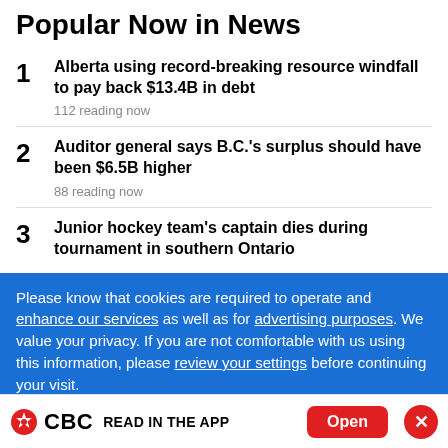Popular Now in News
1 Alberta using record-breaking resource windfall to pay back $13.4B in debt
112 reading now
2 Auditor general says B.C.'s surplus should have been $6.5B higher
88 reading now
3 Junior hockey team's captain dies during tournament in southern Ontario
Please know that cookies are required to operate and enhance our services as well as for advertising purposes. We value your privacy. If you are not comfortable with us using this information, please review your settings before continuing your visit.
CBC READ IN THE APP  Open